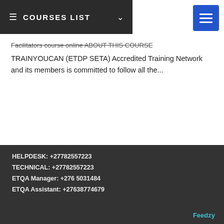COURSES LIST
Facilitators course online ABOUT THIS COURSE TRAINYOUCAN (ETDP SETA) Accredited Training Network and its members is committed to follow all the...
HELPDESK: +27782557223
TECHNICAL: +27782557223
ETQA Manager: +276 5031484
ETQA Assistant: +27638774679
Feedzy